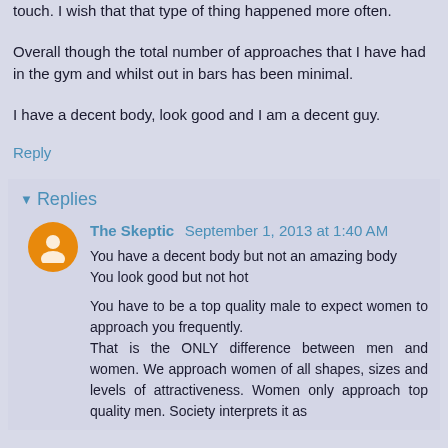touch. I wish that that type of thing happened more often.

Overall though the total number of approaches that I have had in the gym and whilst out in bars has been minimal.

I have a decent body, look good and I am a decent guy.
Reply
Replies
The Skeptic  September 1, 2013 at 1:40 AM

You have a decent body but not an amazing body
You look good but not hot

You have to be a top quality male to expect women to approach you frequently.
That is the ONLY difference between men and women. We approach women of all shapes, sizes and levels of attractiveness. Women only approach top quality men. Society interprets it as